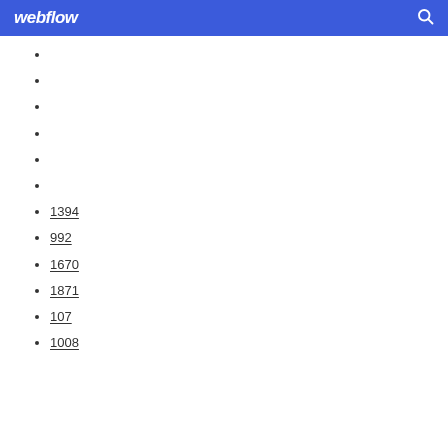webflow
1394
992
1670
1871
107
1008